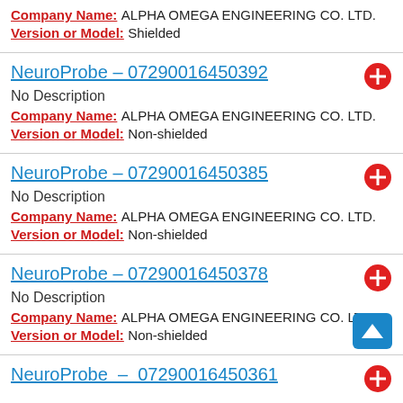Company Name: ALPHA OMEGA ENGINEERING CO. LTD.
Version or Model: Shielded
NeuroProbe – 07290016450392
No Description
Company Name: ALPHA OMEGA ENGINEERING CO. LTD.
Version or Model: Non-shielded
NeuroProbe – 07290016450385
No Description
Company Name: ALPHA OMEGA ENGINEERING CO. LTD.
Version or Model: Non-shielded
NeuroProbe – 07290016450378
No Description
Company Name: ALPHA OMEGA ENGINEERING CO. LTD.
Version or Model: Non-shielded
NeuroProbe – 07290016450361